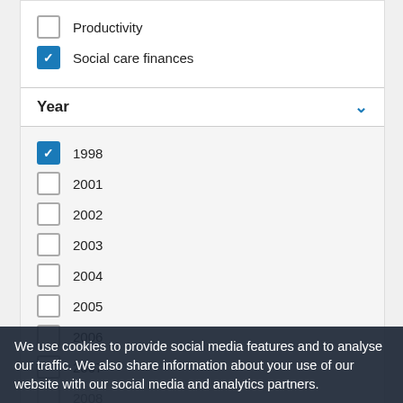Productivity
Social care finances
Year
1998 (checked)
2001
2002
2003
2004
2005
2006
2007
2008 (partially visible)
We use cookies to provide social media features and to analyse our traffic. We also share information about your use of our website with our social media and analytics partners.